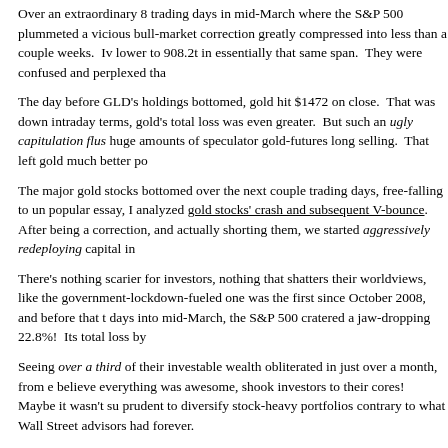Over an extraordinary 8 trading days in mid-March where the S&P 500 plummeted a vicious bull-market correction greatly compressed into less than a couple weeks.  Iv lower to 908.2t in essentially that same span.  They were confused and perplexed tha
The day before GLD's holdings bottomed, gold hit $1472 on close.  That was down intraday terms, gold's total loss was even greater.  But such an ugly capitulation flus huge amounts of speculator gold-futures long selling.  That left gold much better po
The major gold stocks bottomed over the next couple trading days, free-falling to un popular essay, I analyzed gold stocks' crash and subsequent V-bounce.  After being a correction, and actually shorting them, we started aggressively redeploying capital in
There's nothing scarier for investors, nothing that shatters their worldviews, like the government-lockdown-fueled one was the first since October 2008, and before that t days into mid-March, the S&P 500 cratered a jaw-dropping 22.8%!  Its total loss by
Seeing over a third of their investable wealth obliterated in just over a month, from e believe everything was awesome, shook investors to their cores!  Maybe it wasn't su prudent to diversify stock-heavy portfolios contrary to what Wall Street advisors had forever.
Maybe market cycles still exist.  Maybe even trillions of dollars of Fed money printi in the wakes of stock panics, gold investment demand soars as the wisdom of portfol the very day the S&P 500's latest interim stock-panic low was carved, investment ca
GLD enjoyed three massive 1.7%, 1.3%, and 1.4% daily holdings builds right out of continuing into the middle of this week with 12 GLD builds.  The only draw day was